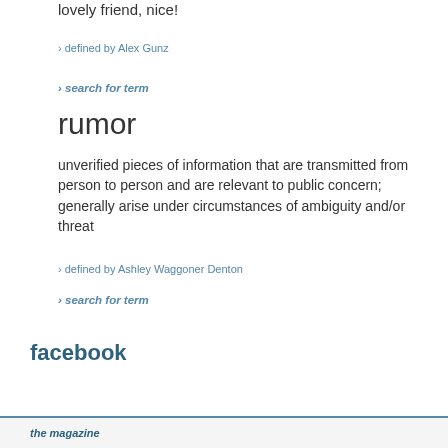lovely friend, nice!
› defined by Alex Gunz
› search for term
rumor
unverified pieces of information that are transmitted from person to person and are relevant to public concern; generally arise under circumstances of ambiguity and/or threat
› defined by Ashley Waggoner Denton
› search for term
facebook
the magazine